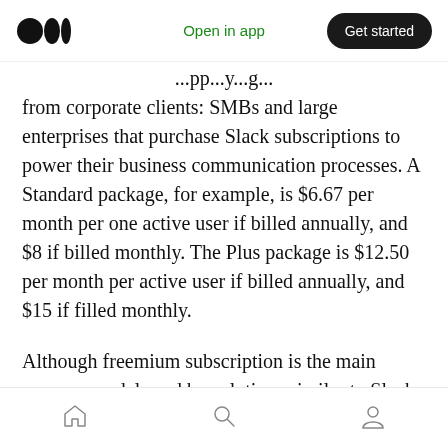Open in app  Get started
...pp...g... from corporate clients: SMBs and large enterprises that purchase Slack subscriptions to power their business communication processes. A Standard package, for example, is $6.67 per month per one active user if billed annually, and $8 if billed monthly. The Plus package is $12.50 per month per active user if billed annually, and $15 if filled monthly.

Although freemium subscription is the main revenue model used by solutions similar to Slack, you may consider options like in-app advertising
home  search  profile